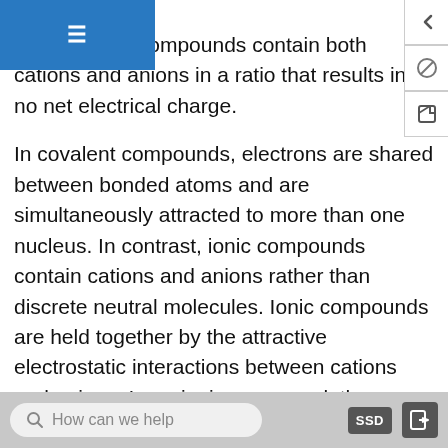anions. Ionic compounds contain both cations and anions in a ratio that results in no net electrical charge.
In covalent compounds, electrons are shared between bonded atoms and are simultaneously attracted to more than one nucleus. In contrast, ionic compounds contain cations and anions rather than discrete neutral molecules. Ionic compounds are held together by the attractive electrostatic interactions between cations and anions. In an ionic compound, the cations and anions are arranged in space to form an extended three-dimensional array that maximizes the number of attractive electrostatic interactions and minimizes the number of repulsive electrostatic interactions (Figure 8.7.1). As shown in Equation 8.7.1, the electrostatic
How can we help